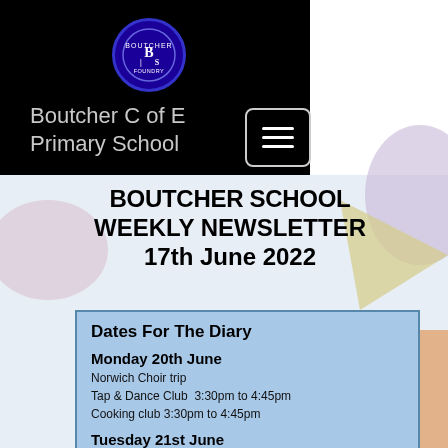[Figure (logo): Boutcher C of E Primary School circular logo in blue and white]
Boutcher C of E Primary School
BOUTCHER SCHOOL WEEKLY NEWSLETTER 17th June 2022
Dates For The Diary
Monday 20th June
Norwich Choir trip
Tap & Dance Club  3:30pm to 4:45pm
Cooking club 3:30pm to 4:45pm
Tuesday 21st June